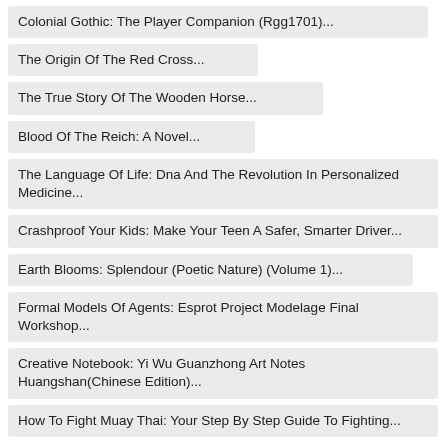Colonial Gothic: The Player Companion (Rgg1701)...
The Origin Of The Red Cross...
The True Story Of The Wooden Horse...
Blood Of The Reich: A Novel...
The Language Of Life: Dna And The Revolution In Personalized Medicine...
Crashproof Your Kids: Make Your Teen A Safer, Smarter Driver...
Earth Blooms: Splendour (Poetic Nature) (Volume 1)...
Formal Models Of Agents: Esprot Project Modelage Final Workshop...
Creative Notebook: Yi Wu Guanzhong Art Notes Huangshan(Chinese Edition)...
How To Fight Muay Thai: Your Step By Step Guide To Fighting...